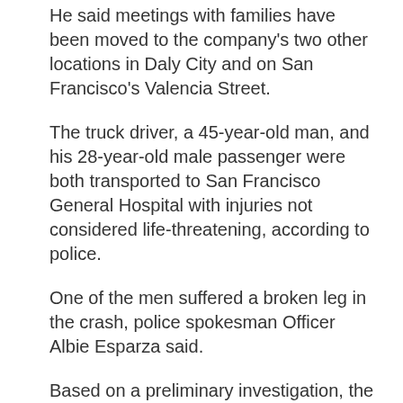He said meetings with families have been moved to the company's two other locations in Daly City and on San Francisco's Valencia Street.
The truck driver, a 45-year-old man, and his 28-year-old male passenger were both transported to San Francisco General Hospital with injuries not considered life-threatening, according to police.
One of the men suffered a broken leg in the crash, police spokesman Officer Albie Esparza said.
Based on a preliminary investigation, the crash is considered accidental and the driver has not been cited or arrested, Esparza said.
The removal of 150 gallons of diesel fuel from the 18-wheel truck is expected to take